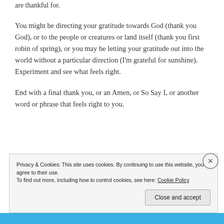are thankful for.
You might be directing your gratitude towards God (thank you God), or to the people or creatures or land itself (thank you first robin of spring), or you may be letting your gratitude out into the world without a particular direction (I'm grateful for sunshine). Experiment and see what feels right.
End with a final thank you, or an Amen, or So Say I, or another word or phrase that feels right to you.
Privacy & Cookies: This site uses cookies. By continuing to use this website, you agree to their use.
To find out more, including how to control cookies, see here: Cookie Policy
Close and accept